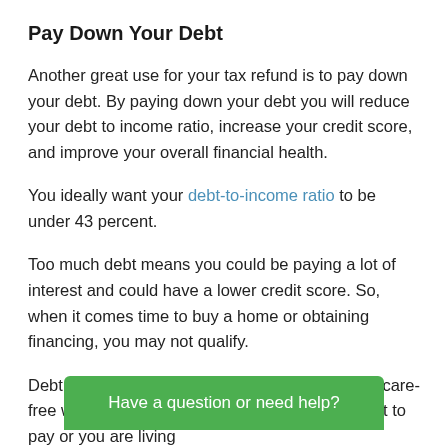Pay Down Your Debt
Another great use for your tax refund is to pay down your debt. By paying down your debt you will reduce your debt to income ratio, increase your credit score, and improve your overall financial health.
You ideally want your debt-to-income ratio to be under 43 percent.
Too much debt means you could be paying a lot of interest and could have a lower credit score. So, when it comes time to buy a home or obtaining financing, you may not qualify.
Debt is also a big stressor in life. It’s hard to feel care-free when you know you have a mountain of debt to pay or you are living… ur
Have a question or need help?